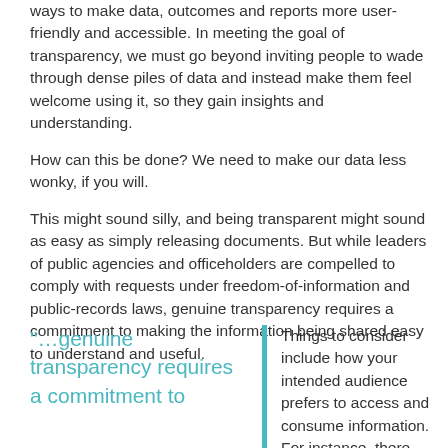ways to make data, outcomes and reports more user-friendly and accessible. In meeting the goal of transparency, we must go beyond inviting people to wade through dense piles of data and instead make them feel welcome using it, so they gain insights and understanding.
How can this be done? We need to make our data less wonky, if you will.
This might sound silly, and being transparent might sound as easy as simply releasing documents. But while leaders of public agencies and officeholders are compelled to comply with requests under freedom-of-information and public-records laws, genuine transparency requires a commitment to making the information being shared easy to understand and useful.
“…genuine transparency requires a commitment to
Things to consider include how your intended audience prefers to access and consume information. For instance, there are generational